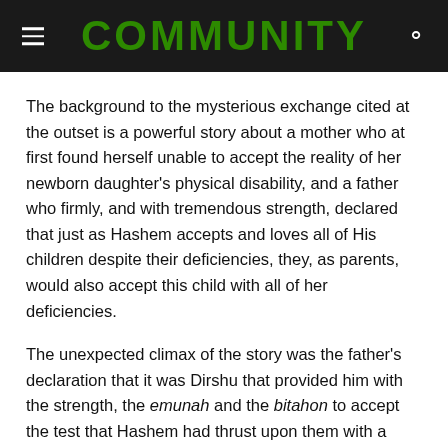COMMUNITY
The background to the mysterious exchange cited at the outset is a powerful story about a mother who at first found herself unable to accept the reality of her newborn daughter's physical disability, and a father who firmly, and with tremendous strength, declared that just as Hashem accepts and loves all of His children despite their deficiencies, they, as parents, would also accept this child with all of her deficiencies.
The unexpected climax of the story was the father's declaration that it was Dirshu that provided him with the strength, the emunah and the bitahon to accept the test that Hashem had thrust upon them with a physically